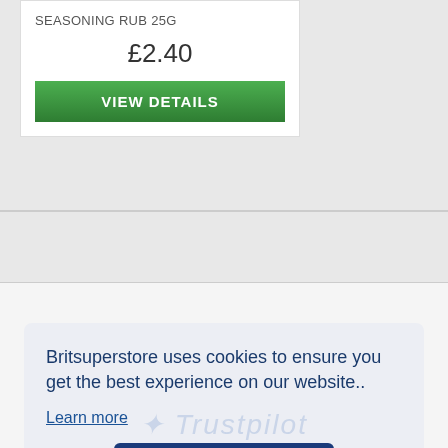SEASONING RUB 25G
£2.40
VIEW DETAILS
Britsuperstore uses cookies to ensure you get the best experience on our website..
Learn more
Got it!